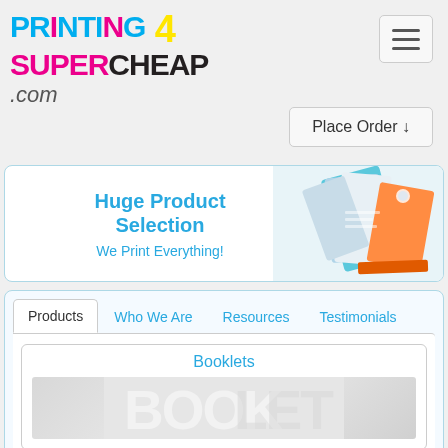[Figure (logo): Printing4SuperCheap.com logo with colorful text]
[Figure (other): Hamburger menu button (three horizontal lines)]
Place Order ↓
[Figure (infographic): Banner with text Huge Product Selection, We Print Everything!, and image of printed materials on the right]
Huge Product Selection
We Print Everything!
Products
Who We Are
Resources
Testimonials
Booklets
[Figure (photo): Booklet product photo (faded/light image)]